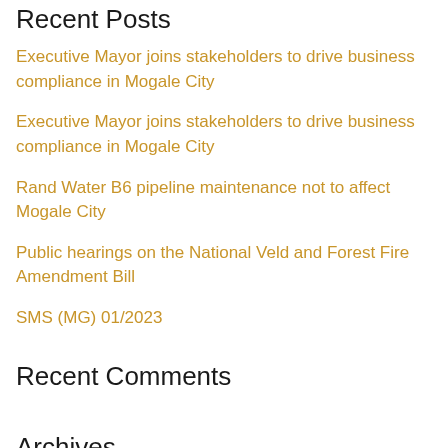Recent Posts
Executive Mayor joins stakeholders to drive business compliance in Mogale City
Executive Mayor joins stakeholders to drive business compliance in Mogale City
Rand Water B6 pipeline maintenance not to affect Mogale City
Public hearings on the National Veld and Forest Fire Amendment Bill
SMS (MG) 01/2023
Recent Comments
Archives
August 2022